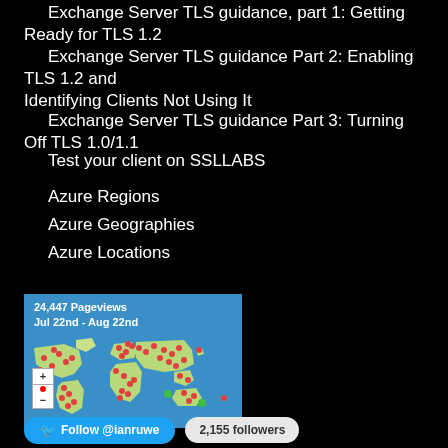Exchange Server TLS guidance, part 1: Getting Ready for TLS 1.2
Exchange Server TLS guidance Part 2: Enabling TLS 1.2 and Identifying Clients Not Using It
Exchange Server TLS guidance Part 3: Turning Off TLS 1.0/1.1
Test your client on SSLLABS
Azure Regions
Azure Geographies
Azure Locations
[Figure (map): World map showing 24,447 pageviews from Jul 22nd to Aug 22nd, with red and green dots indicating visitor locations across all continents. Includes zoom controls on the left.]
Follow @ianruwe... 2,155 followers